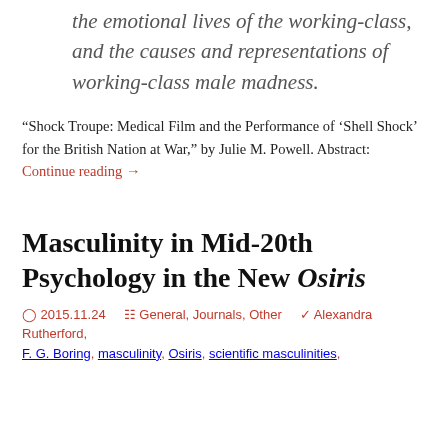the emotional lives of the working-class, and the causes and representations of working-class male madness.
“Shock Troupe: Medical Film and the Performance of ‘Shell Shock’ for the British Nation at War,” by Julie M. Powell. Abstract: Continue reading →
Masculinity in Mid-20th Psychology in the New Osiris
2015.11.24   General, Journals, Other   Alexandra Rutherford, F. G. Boring, masculinity, Osiris, scientific masculinities,